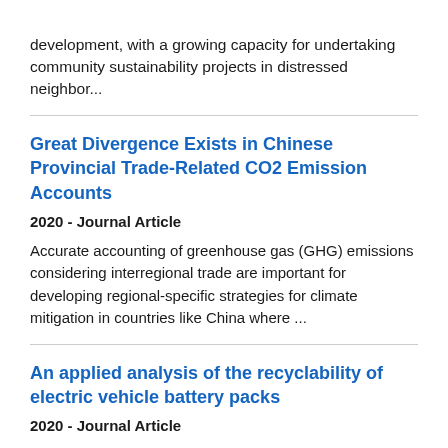development, with a growing capacity for undertaking community sustainability projects in distressed neighbor...
Great Divergence Exists in Chinese Provincial Trade-Related CO2 Emission Accounts
2020 - Journal Article
Accurate accounting of greenhouse gas (GHG) emissions considering interregional trade are important for developing regional-specific strategies for climate mitigation in countries like China where ...
An applied analysis of the recyclability of electric vehicle battery packs
2020 - Journal Article